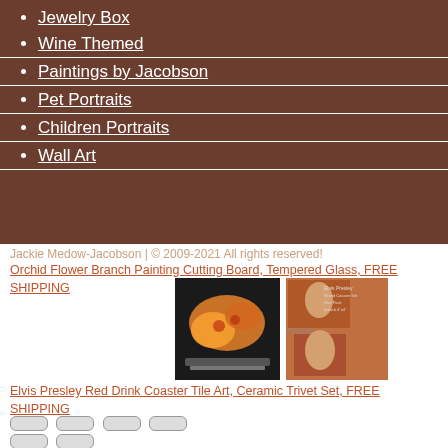Jewelry Box
Wine Themed
Paintings by Jacobson
Pet Portraits
Children Portraits
Wall Art
Jackie Medow-Jacobson | © 2009-2021 All rights reserved!
Orchid Flower Branch Painting Cutting Board, Tempered Glass, FREE SHIPPING   Elvis Presley Red Drink Coaster Tile Art, Ceramic Trivet Set, FREE SHIPPING
[Figure (photo): Orchid flower branch photo on a cutting board]
[Figure (photo): Elvis Presley portrait photos on red background coaster tile set]